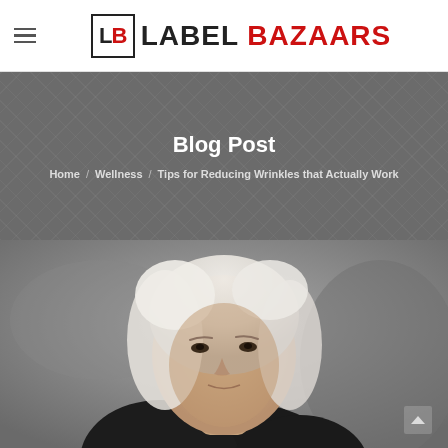Label Bazaars
Blog Post
Home / Wellness / Tips for Reducing Wrinkles that Actually Work
[Figure (photo): An older blonde woman photographed outdoors, wearing a dark jacket, looking slightly to the side with a neutral expression.]